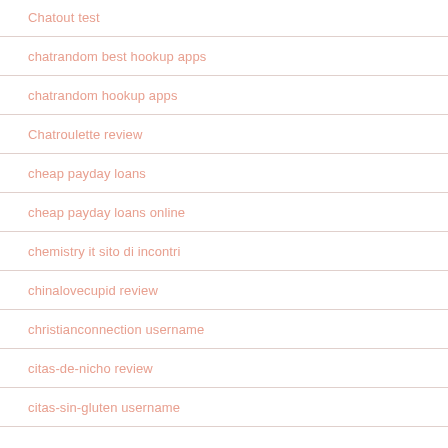Chatout test
chatrandom best hookup apps
chatrandom hookup apps
Chatroulette review
cheap payday loans
cheap payday loans online
chemistry it sito di incontri
chinalovecupid review
christianconnection username
citas-de-nicho review
citas-sin-gluten username